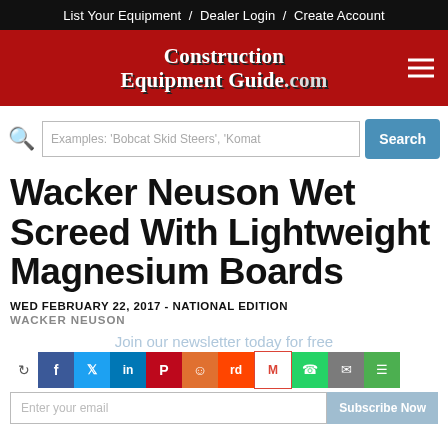List Your Equipment / Dealer Login / Create Account
[Figure (logo): Construction Equipment Guide .com logo on red background with hamburger menu icon]
Examples: 'Bobcat Skid Steers', 'Komat
Wacker Neuson Wet Screed With Lightweight Magnesium Boards
WED FEBRUARY 22, 2017 - NATIONAL EDITION
WACKER NEUSON
Join our newsletter today for free
Enter your email